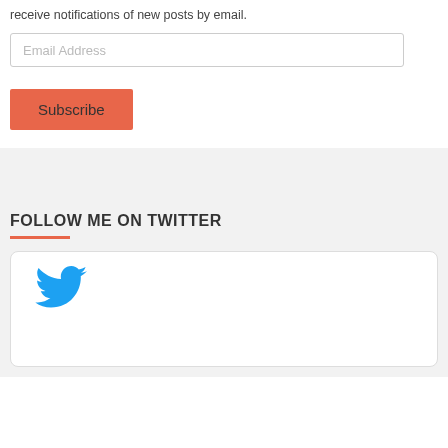receive notifications of new posts by email.
[Figure (screenshot): Email address input field with placeholder text 'Email Address']
[Figure (screenshot): Orange Subscribe button]
FOLLOW ME ON TWITTER
[Figure (screenshot): Twitter widget card showing the Twitter bird logo]